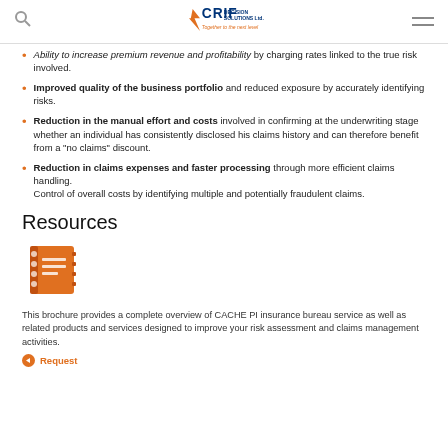CRIF Decision Solutions Ltd. — Together to the next level
Ability to increase premium revenue and profitability by charging rates linked to the true risk involved.
Improved quality of the business portfolio and reduced exposure by accurately identifying risks.
Reduction in the manual effort and costs involved in confirming at the underwriting stage whether an individual has consistently disclosed his claims history and can therefore benefit from a "no claims" discount.
Reduction in claims expenses and faster processing through more efficient claims handling.
Control of overall costs by identifying multiple and potentially fraudulent claims.
Resources
[Figure (illustration): Orange notebook/brochure icon with spiral binding on the left side and lines representing text on the cover.]
This brochure provides a complete overview of CACHE PI insurance bureau service as well as related products and services designed to improve your risk assessment and claims management activities.
Request